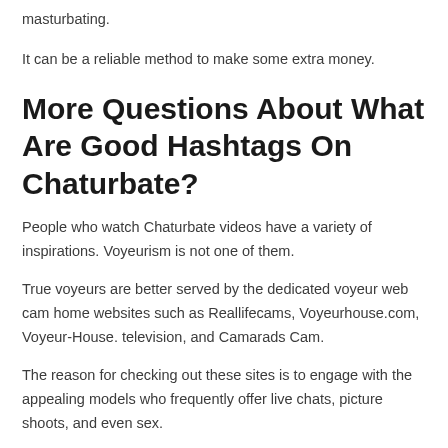masturbating.
It can be a reliable method to make some extra money.
More Questions About What Are Good Hashtags On Chaturbate?
People who watch Chaturbate videos have a variety of inspirations. Voyeurism is not one of them.
True voyeurs are better served by the dedicated voyeur web cam home websites such as Reallifecams, Voyeurhouse.com, Voyeur-House. television, and Camarads Cam.
The reason for checking out these sites is to engage with the appealing models who frequently offer live chats, picture shoots, and even sex.